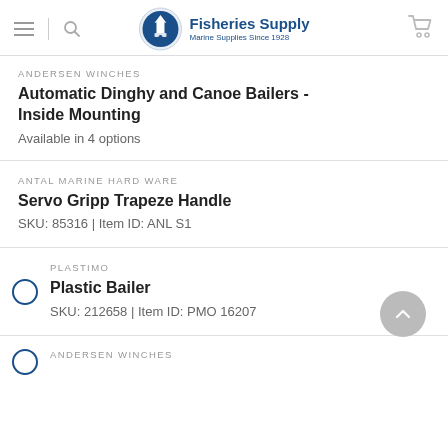Fisheries Supply — Marine Supplies Since 1928
ANDERSEN WINCHES
Automatic Dinghy and Canoe Bailers - Inside Mounting
Available in 4 options
ANTAL MARINE HARDWARE
Servo Gripp Trapeze Handle
SKU: 85316 | Item ID: ANL S1
PLASTIMO
Plastic Bailer
SKU: 212658 | Item ID: PMO 16207
ANDERSEN WINCHES